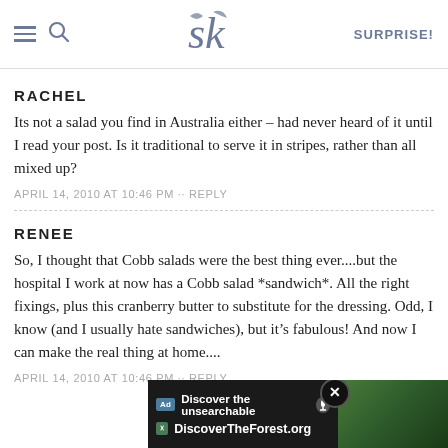SK — SURPRISE!
RACHEL
Its not a salad you find in Australia either – had never heard of it until I read your post. Is it traditional to serve it in stripes, rather than all mixed up?
APRIL 14, 2010 AT 10:46 PM · · REPLY
RENEE
So, I thought that Cobb salads were the best thing ever....but the hospital I work at now has a Cobb salad *sandwich*. All the right fixings, plus this cranberry butter to substitute for the dressing. Odd, I know (and I usually hate sandwiches), but it's fabulous! And now I can make the real thing at home....
APRIL 14, 2010 AT 10:46 PM · · REPLY
[Figure (screenshot): Advertisement banner: 'Discover the unsearchable — DiscoverTheForest.org' with forest image and close button]